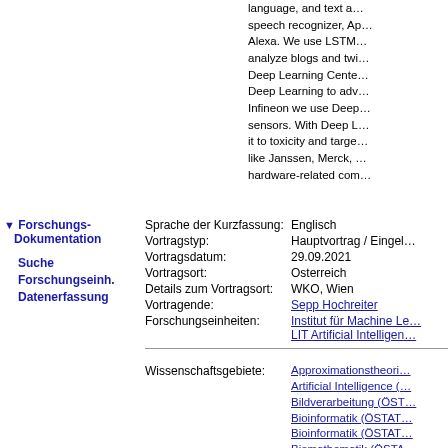language, and text a... speech recognizer, Ap... Alexa. We use LSTM... analyze blogs and twi... Deep Learning Cente... Deep Learning to adv... Infineon we use Deep... sensors. With Deep L... it to toxicity and targe... like Janssen, Merck, ... hardware-related com...
Sprache der Kurzfassung: Englisch
Vortragstyp: Hauptvortrag / Eingel...
Vortragsdatum: 29.09.2021
Vortragsort: Osterreich
Details zum Vortragsort: WKO, Wien
Vortragende: Sepp Hochreiter
Forschungseinheiten: Institut für Machine Le... LIT Artificial Intelligen...
Wissenschaftsgebiete: Approximationstheori... Artificial Intelligence (... Bildverarbeitung (ÖST... Bioinformatik (ÖSTAT... Bioinformatik (ÖSTAT... Biomathematik (ÖSTA... Biostatistik (ÖSTAT:10... Computational Intellig... Computerunterstützte... Data Mining (ÖSTAT:... Dynamische Systeme... Embedded Systems (... Human-Computer Intu... Informatik (ÖSTAT:10... Künstliche Neuronale... Machine Learning (Ö... Mathematische Mode...
Forschungs-Dokumentation
Suche
Forschungseinh.
Datenerfassung